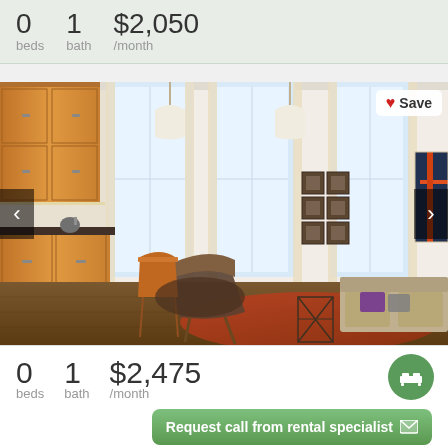0 beds   1 bath   $2,050 /month
[Figure (photo): Interior apartment photo showing open-plan living/kitchen area with wood cabinets, pendant lights, large windows, orange rug, and modern furniture]
0 beds   1 bath   $2,475 /month
Request call from rental specialist